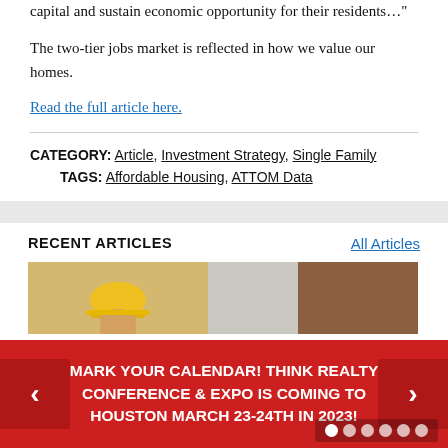capital and sustain economic opportunity for their residents…"
The two-tier jobs market is reflected in how we value our homes.
Read the full article here.
CATEGORY: Article, Investment Strategy, Single Family
TAGS: Affordable Housing, ATTOM Data
RECENT ARTICLES
All Articles
[Figure (photo): Construction worker wearing yellow hard hat, viewed from behind, against grey and brown background]
MARK YOUR CALENDAR! THINK REALTY CONFERENCE & EXPO IS COMING TO HOUSTON MARCH 23-24TH IN 2023!